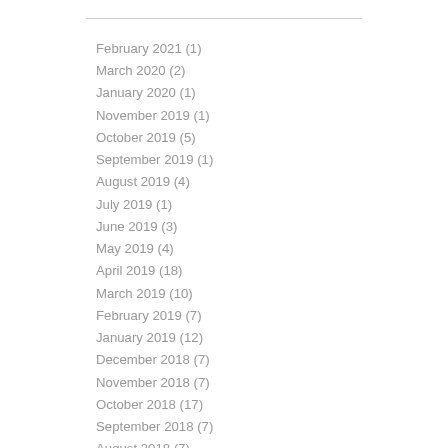February 2021 (1)
March 2020 (2)
January 2020 (1)
November 2019 (1)
October 2019 (5)
September 2019 (1)
August 2019 (4)
July 2019 (1)
June 2019 (3)
May 2019 (4)
April 2019 (18)
March 2019 (10)
February 2019 (7)
January 2019 (12)
December 2018 (7)
November 2018 (7)
October 2018 (17)
September 2018 (7)
August 2018 (7)